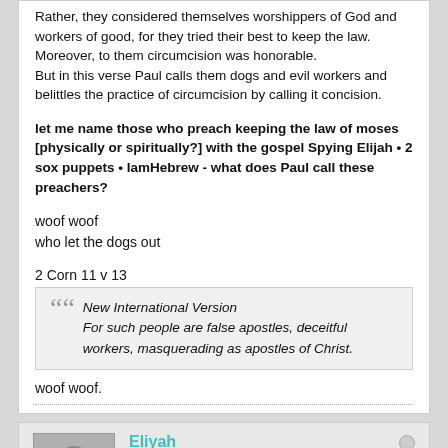Rather, they considered themselves worshippers of God and workers of good, for they tried their best to keep the law. Moreover, to them circumcision was honorable. But in this verse Paul calls them dogs and evil workers and belittles the practice of circumcision by calling it concision.
let me name those who preach keeping the law of moses [physically or spiritually?] with the gospel Spying Elijah • 2 sox puppets • IamHebrew - what does Paul call these preachers?
woof woof
who let the dogs out
2 Corn 11 v 13
New International Version
For such people are false apostles, deceitful workers, masquerading as apostles of Christ.
woof woof.
Eliyah
Banned User